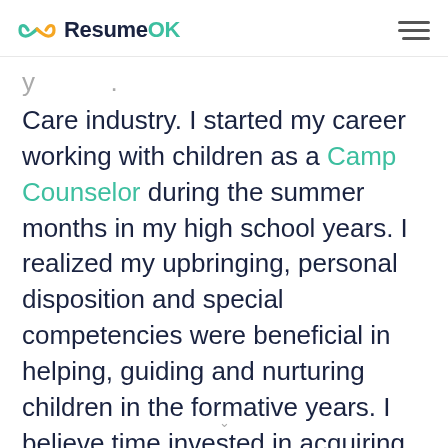ResumeOK
Care industry. I started my career working with children as a Camp Counselor during the summer months in my high school years. I realized my upbringing, personal disposition and special competencies were beneficial in helping, guiding and nurturing children in the formative years. I believe time invested in acquiring the necessary skills and certifications to become a better Child Care Worker shall likewise benefit Young Leaders Head Start